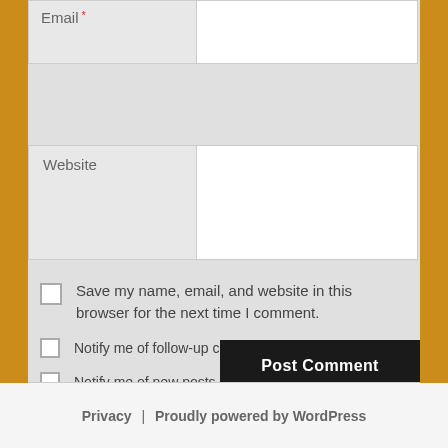[Figure (screenshot): Web form fields showing Email (with required marker), Website input field, three checkboxes for saving name/email/website and notification preferences, and a Post Comment button]
Email
Website
Save my name, email, and website in this browser for the next time I comment.
Notify me of follow-up comments by email.
Notify me of new posts by email.
Post Comment
Privacy  |  Proudly powered by WordPress